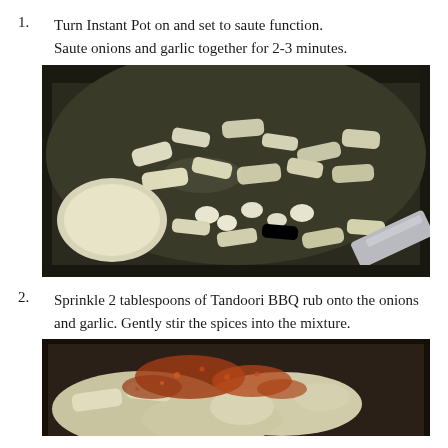Turn Instant Pot on and set to saute function. Saute onions and garlic together for 2-3 minutes.
[Figure (photo): Photo of chopped onions and garlic sauteing in an Instant Pot insert, viewed from above, with a spatula visible at the bottom right.]
Sprinkle 2 tablespoons of Tandoori BBQ rub onto the onions and garlic. Gently stir the spices into the mixture.
[Figure (photo): Photo of spices sprinkled over onions and garlic in a dark pot, partially visible, showing reddish-brown spice rub on top of the white onion mixture.]